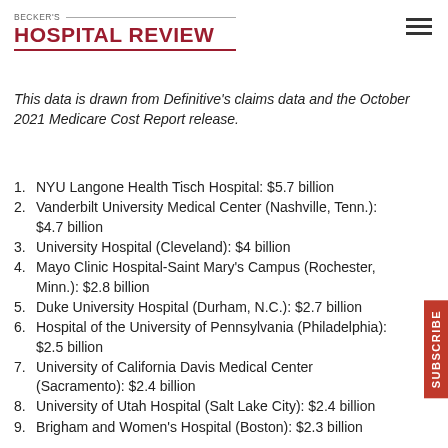BECKER'S HOSPITAL REVIEW
This data is drawn from Definitive's claims data and the October 2021 Medicare Cost Report release.
NYU Langone Health Tisch Hospital: $5.7 billion
Vanderbilt University Medical Center (Nashville, Tenn.): $4.7 billion
University Hospital (Cleveland): $4 billion
Mayo Clinic Hospital-Saint Mary's Campus (Rochester, Minn.): $2.8 billion
Duke University Hospital (Durham, N.C.): $2.7 billion
Hospital of the University of Pennsylvania (Philadelphia): $2.5 billion
University of California Davis Medical Center (Sacramento): $2.4 billion
University of Utah Hospital (Salt Lake City): $2.4 billion
Brigham and Women's Hospital (Boston): $2.3 billion